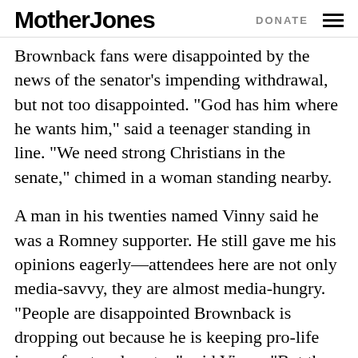Mother Jones | DONATE
Brownback fans were disappointed by the news of the senator’s impending withdrawal, but not too disappointed. “God has him where he wants him,” said a teenager standing in line. “We need strong Christians in the senate,” chimed in a woman standing nearby.
A man in his twenties named Vinny said he was a Romney supporter. He still gave me his opinions eagerly—attendees here are not only media-savvy, they are almost media-hungry. “People are disappointed Brownback is dropping out because he is keeping pro-life issues front and center,” said Vinny. “But the buzz I hear is that people are hoping